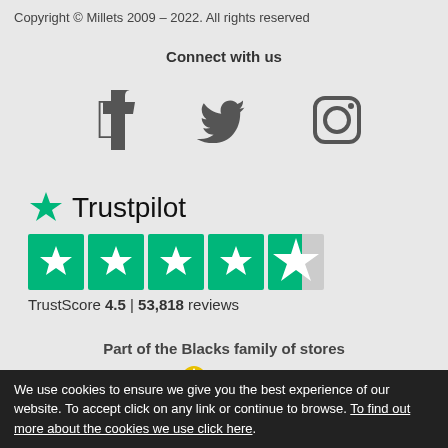Copyright © Millets 2009 – 2022. All rights reserved
Connect with us
[Figure (illustration): Social media icons: Facebook, Twitter, Instagram, YouTube]
[Figure (logo): Trustpilot logo with green star, 4.5 star rating (5 green star boxes, last one half-filled), TrustScore 4.5 | 53,818 reviews]
TrustScore 4.5 | 53,818 reviews
Part of the Blacks family of stores
[Figure (logo): Blacks, Ultimate Outdoors, and millets brand logos]
We use cookies to ensure we give you the best experience of our website. To accept click on any link or continue to browse. To find out more about the cookies we use click here.